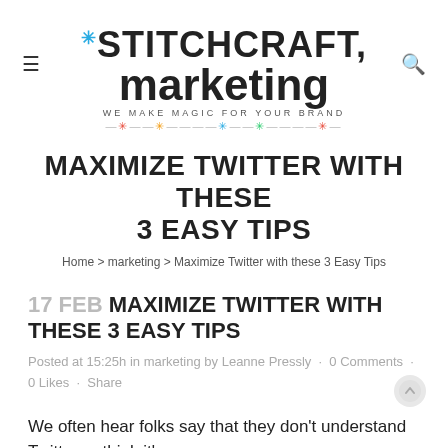[Figure (logo): Stitchcraft Marketing logo with tagline 'WE MAKE MAGIC FOR YOUR BRAND' and decorative divider with colored snowflake/asterisk symbols]
MAXIMIZE TWITTER WITH THESE 3 EASY TIPS
Home > marketing > Maximize Twitter with these 3 Easy Tips
17 FEB MAXIMIZE TWITTER WITH THESE 3 EASY TIPS
Posted at 15:25h in marketing by Leanne Pressly · 0 Comments · 0 Likes · Share
We often hear folks say that they don't understand Twitter or think it's a